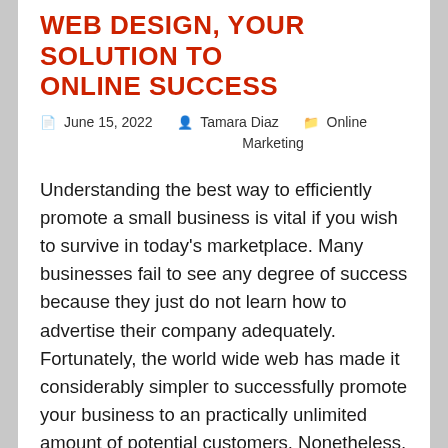WEB DESIGN, YOUR SOLUTION TO ONLINE SUCCESS
📅 June 15, 2022   👤 Tamara Diaz   🗂 Online Marketing
Understanding the best way to efficiently promote a small business is vital if you wish to survive in today's marketplace. Many businesses fail to see any degree of success because they just do not learn how to advertise their company adequately. Fortunately, the world wide web has made it considerably simpler to successfully promote your business to an practically unlimited amount of potential customers. Nonetheless, regardless of how good your advertising can be, without having a solid base to work from